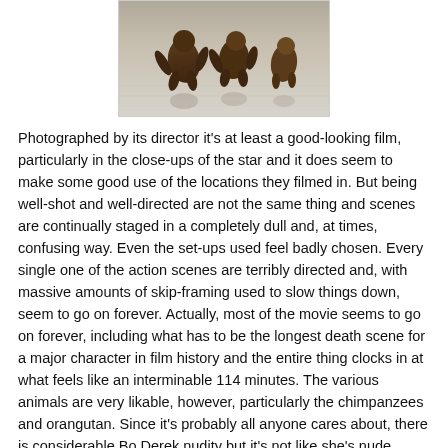[Figure (photo): Photograph showing animals (appearing to be chimpanzees or similar primates) on a wet reflective surface, photographed from above or mid-level angle.]
Photographed by its director it's at least a good-looking film, particularly in the close-ups of the star and it does seem to make some good use of the locations they filmed in. But being well-shot and well-directed are not the same thing and scenes are continually staged in a completely dull and, at times, confusing way. Even the set-ups used feel badly chosen. Every single one of the action scenes are terribly directed and, with massive amounts of skip-framing used to slow things down, seem to go on forever. Actually, most of the movie seems to go on forever, including what has to be the longest death scene for a major character in film history and the entire thing clocks in at what feels like an interminable 114 minutes. The various animals are very likable, however, particularly the chimpanzees and orangutan. Since it's probably all anyone cares about, there is considerable Bo Derek nudity but it's not like she's nude